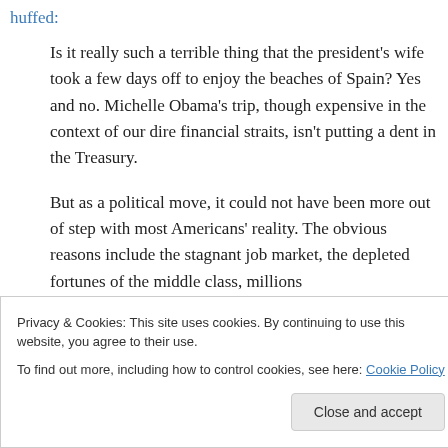huffed:
Is it really such a terrible thing that the president's wife took a few days off to enjoy the beaches of Spain? Yes and no. Michelle Obama's trip, though expensive in the context of our dire financial straits, isn't putting a dent in the Treasury.
But as a political move, it could not have been more out of step with most Americans' reality. The obvious reasons include the stagnant job market, the depleted fortunes of the middle class, millions
Privacy & Cookies: This site uses cookies. By continuing to use this website, you agree to their use.
To find out more, including how to control cookies, see here: Cookie Policy
Close and accept